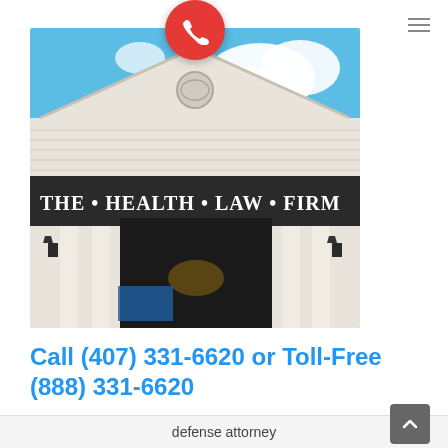[Figure (photo): Exterior photo of The Health Law Firm building — a white colonial-style building with triangular pediment, columns, and signage reading 'THE · HEALTH · LAW · FIRM'. A red phone call button circle overlays the top center of the photo.]
Call (407) 331-6620 or Toll-Free (888) 331-6620
defense attorney